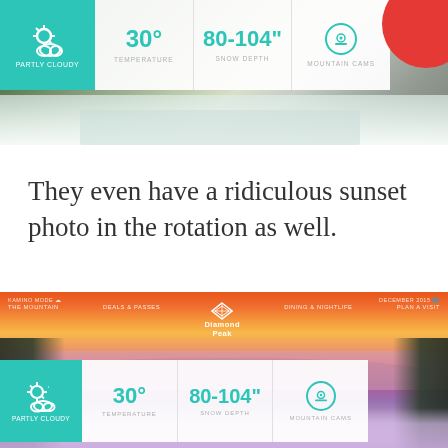[Figure (screenshot): Ski resort weather widget screenshot showing partly cloudy icon (teal background), temperature 30°, snow depth 80-104", and mountain cams icon. Background shows ski slope photo with snowy tracks. Red circle partially visible top right.]
They even have a ridiculous sunset photo in the rotation as well.
[Figure (screenshot): Diamond Peak ski resort website screenshot showing a stunning sunset panoramic photo of Lake Tahoe from the slopes. Navigation bar with Diamond Peak logo in center. Bottom weather widget: Partly Cloudy, 30° temperature, 80-104" snow depth, Mountain Cams. Snow-covered trees frame the sides.]